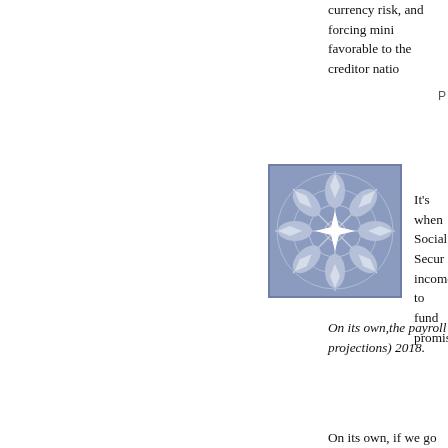currency risk, and forcing minorities favorable to the creditor natio...
P...
[Figure (illustration): Decorative geometric snowflake/mandala pattern in blue and white on a square tile]
It's when Social Secur... income to fund promis...
On its own,the payroll... projections) 2018.
On its own, if we go to "Plan ... model Bush intends to propo... current benefits immediately... doing nothing for about fifty y...
We'd have to run much, much... make a massive tax increase... conservatives use to describe... fund treasury bonds) to allow... simply letting the trust fund r... 2042 and 2052.
Bush administration projected... privatize (at 2%) would add 2... and each year between 2004...